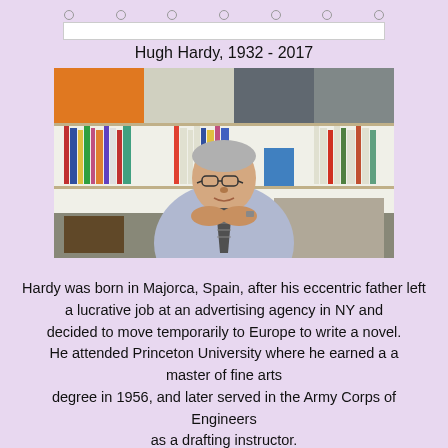Hugh Hardy, 1932 - 2017
[Figure (photo): An elderly man (Hugh Hardy) sitting at a desk with hands clasped together as if in thought, in front of a bookshelf with colorful books and panels. He is wearing a striped tie and light blue shirt.]
Hardy was born in Majorca, Spain, after his eccentric father left a lucrative job at an advertising agency in NY and decided to move temporarily to Europe to write a novel. He attended Princeton University where he earned a a master of fine arts degree in 1956, and later served in the Army Corps of Engineers as a drafting instructor.